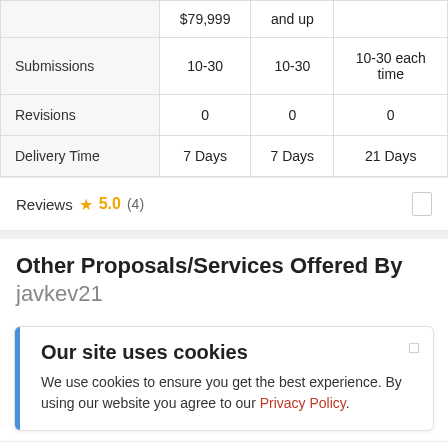|  | $79,999 | and up |  |
| --- | --- | --- | --- |
| Submissions | 10-30 | 10-30 | 10-30 each time |
| Revisions | 0 | 0 | 0 |
| Delivery Time | 7 Days | 7 Days | 21 Days |
Reviews ★ 5.0 (4)
Other Proposals/Services Offered By javkev21
Our site uses cookies
We use cookies to ensure you get the best experience. By using our website you agree to our Privacy Policy.
by jaykey21   Starting At $100.00